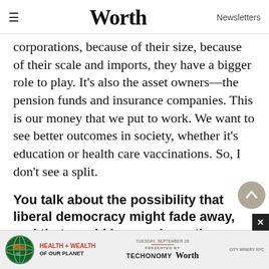≡  Worth  Newsletters
corporations, because of their size, because of their scale and imports, they have a bigger role to play. It's also the asset owners—the pension funds and insurance companies. This is our money that we put to work. We want to see better outcomes in society, whether it's education or health care vaccinations. So, I don't see a split.
You talk about the possibility that liberal democracy might fade away, and that would have a dramatic change in the environment in which corporations operate. How should a company adapt to circumstances like that?
We hav…ittees.
[Figure (infographic): Health + Wealth of Our Planet event banner with globe logo, Techonomy and Worth branding, PRESENTED BY label, Tuesday September date, City Winery NYC venue]